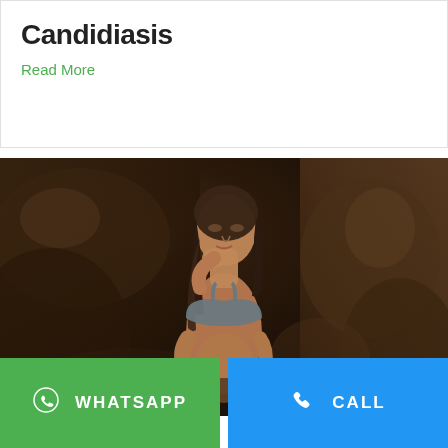Candidiasis
Read More
[Figure (photo): Woman in blue bikini top posing against dark rocky background, looking downward thoughtfully with hand near chin]
WHATSAPP
CALL